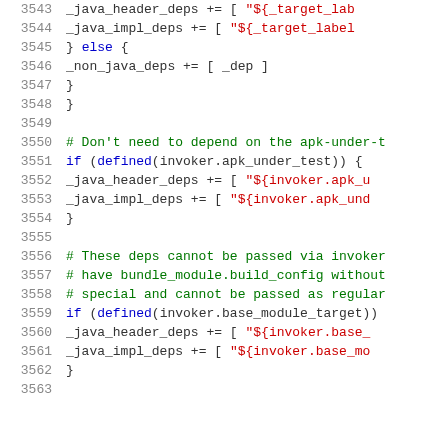[Figure (screenshot): Source code viewer showing lines 3543-3563 of a build configuration script with syntax highlighting. Blue keywords, red strings, green comments, dark text for identifiers.]